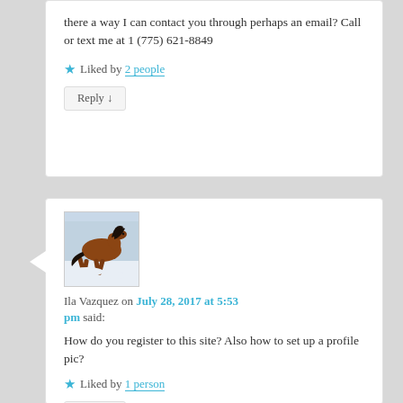there a way I can contact you through perhaps an email? Call or text me at 1 (775) 621-8849
Liked by 2 people
Reply ↓
[Figure (photo): A brown horse running through snow with trees in background]
Ila Vazquez on July 28, 2017 at 5:53 pm said:
How do you register to this site? Also how to set up a profile pic?
Liked by 1 person
Reply ↓